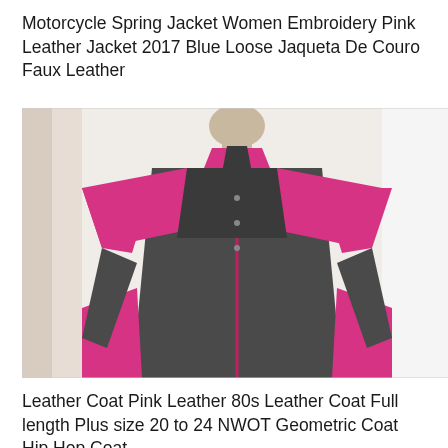Motorcycle Spring Jacket Women Embroidery Pink Leather Jacket 2017 Blue Loose Jaqueta De Couro Faux Leather
[Figure (photo): A mannequin wearing a pink and black two-tone faux leather motorcycle jacket with geometric color-block panels. The jacket has a stand-up collar, button front closure, and contrasting pink shoulders/sides with a black body panel.]
Leather Coat Pink Leather 80s Leather Coat Full length Plus size 20 to 24 NWOT Geometric Coat Hip Hop Coat